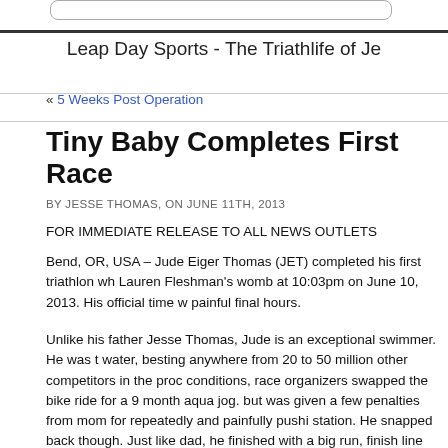Leap Day Sports - The Triathlife of Je
« 5 Weeks Post Operation
Tiny Baby Completes First Race
BY JESSE THOMAS, ON JUNE 11TH, 2013
FOR IMMEDIATE RELEASE TO ALL NEWS OUTLETS
Bend, OR, USA – Jude Eiger Thomas (JET) completed his first triathlon wh Lauren Fleshman's womb at 10:03pm on June 10, 2013. His official time w painful final hours.
Unlike his father Jesse Thomas, Jude is an exceptional swimmer. He was t water, besting anywhere from 20 to 50 million other competitors in the proc conditions, race organizers swapped the bike ride for a 9 month aqua jog. but was given a few penalties from mom for repeatedly and painfully pushi station. He snapped back though. Just like dad, he finished with a big run, finish line through the tight, circuitous, and incredibly confusing course des provide him with a lead vehicle.